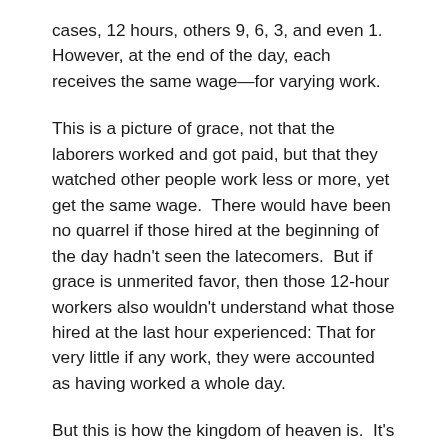cases, 12 hours, others 9, 6, 3, and even 1.  However, at the end of the day, each receives the same wage—for varying work.
This is a picture of grace, not that the laborers worked and got paid, but that they watched other people work less or more, yet get the same wage.  There would have been no quarrel if those hired at the beginning of the day hadn't seen the latecomers.  But if grace is unmerited favor, then those 12-hour workers also wouldn't understand what those hired at the last hour experienced: That for very little if any work, they were accounted as having worked a whole day.
But this is how the kingdom of heaven is.  It's not about our labors or our striving or even our wise choices.  Because of that, grace is scandalous.